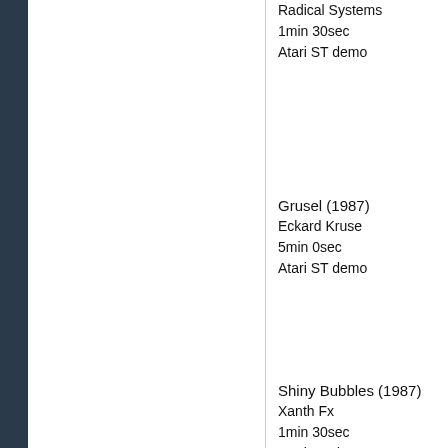Radical Systems
1min 30sec
Atari ST demo
Grusel (1987)
Eckard Kruse
5min 0sec
Atari ST demo
Shiny Bubbles (1987)
Xanth Fx
1min 30sec
Atari ST demo